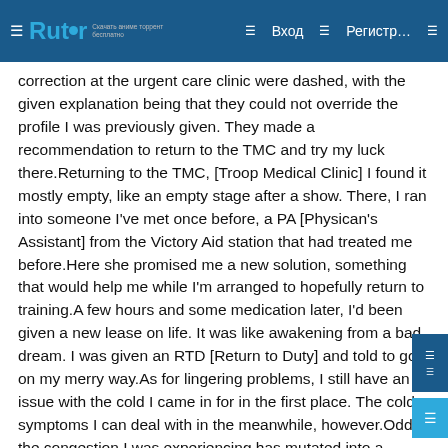Rutor — Вход — Регистр…
correction at the urgent care clinic were dashed, with the given explanation being that they could not override the profile I was previously given. They made a recommendation to return to the TMC and try my luck there.Returning to the TMC, [Troop Medical Clinic] I found it mostly empty, like an empty stage after a show. There, I ran into someone I've met once before, a PA [Physican's Assistant] from the Victory Aid station that had treated me before.Here she promised me a new solution, something that would help me while I'm arranged to hopefully return to training.A few hours and some medication later, I'd been given a new lease on life. It was like awakening from a bad dream. I was given an RTD [Return to Duty] and told to go on my merry way.As for lingering problems, I still have an issue with the cold I came in for in the first place. The cold symptoms I can deal with in the meanwhile, however.Oddly, the congestion I was experiencing has mutated into a feeling in my left lung that seems to resemble the pain of the organ itself swelling up. Externally I see nothing, but internally the stabbing pain I'm experiencing is new to me. [Kilroy turned out to have pleuritis,